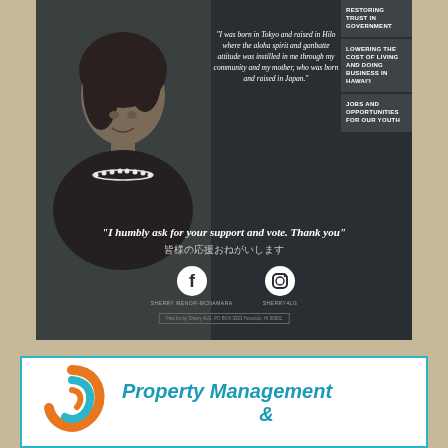[Figure (photo): Dark-toned campaign flyer with photo of a woman wearing a pearl necklace on the left, italic quote text in center, and policy platform items on the right side]
"I was born in Tokyo and raised in Hilo where the aloha spirit and ganbatte attitude was instilled in me through my community and my mother, who was born and raised in Japan."
RESTORING TRUST IN GOVERNMENT
LOWERING THE COST OF LIVING AND DOING BUSINESS IN HAWAI'I
JOBS AND OPPORTUNITIES FOR OUR YOUTH
"I humbly ask for your support and vote. Thank you"
皆様の応援おねがいします
SHERRY MENOR-MCNAMARA
SHERRY4LG
Paid for by Sherry 4LG, PO BOX 3323 Honolulu, HI 96801
[Figure (logo): Swirling blue and orange spiral logo for a Property Management company]
Property Management &